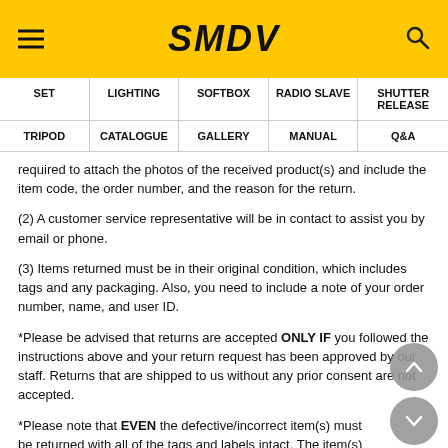SMDV
| SET | LIGHTING | SOFTBOX | RADIO SLAVE | SHUTTER RELEASE | TRIPOD | CATALOGUE | GALLERY | MANUAL | Q&A |
| --- | --- | --- | --- | --- | --- | --- | --- | --- | --- |
required to attach the photos of the received product(s) and include the item code, the order number, and the reason for the return.
(2) A customer service representative will be in contact to assist you by email or phone.
(3) Items returned must be in their original condition, which includes tags and any packaging. Also, you need to include a note of your order number, name, and user ID.
*Please be advised that returns are accepted ONLY IF you followed the instructions above and your return request has been approved by our staff. Returns that are shipped to us without any prior consent are not accepted.
*Please note that EVEN the defective/incorrect item(s) must be returned with all of the tags and labels intact. The item(s) must be sent in their original packaging and unworn.